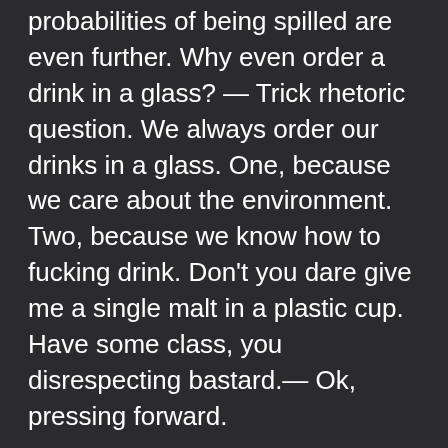probabilities of being spilled are even further. Why even order a drink in a glass? — Trick rhetoric question. We always order our drinks in a glass. One, because we care about the environment. Two, because we know how to fucking drink. Don't you dare give me a single malt in a plastic cup. Have some class, you disrespecting bastard.— Ok, pressing forward.
This is why every time I witness any kind of incident happening: toast falling butter-side down, tyre puncture, traffic on the usually empty street on the same (and only)